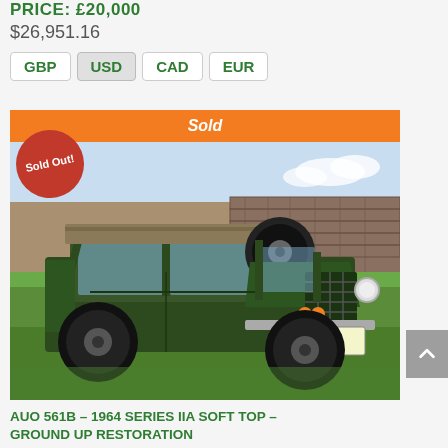PRICE: £20,000
$26,951.16
GBP  USD  CAD  EUR
[Figure (photo): A dark green 1964 Land Rover Series IIA Soft Top with registration plate AUO 561B, parked on grass with a stone wall in the background. An orange 'Sold' banner appears at the top and a red 'Sold Out!' circular badge is in the upper left corner.]
AUO 561B – 1964 SERIES IIA SOFT TOP – GROUND UP RESTORATION